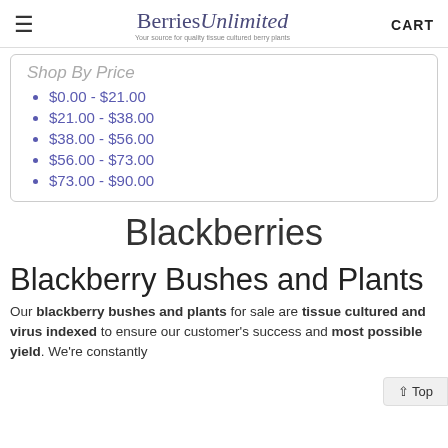Berries Unlimited — Your source for quality tissue cultured berry plants | CART
Shop By Price
$0.00 - $21.00
$21.00 - $38.00
$38.00 - $56.00
$56.00 - $73.00
$73.00 - $90.00
Blackberries
Blackberry Bushes and Plants
Our blackberry bushes and plants for sale are tissue cultured and virus indexed to ensure our customer's success and most possible yield. We're constantly